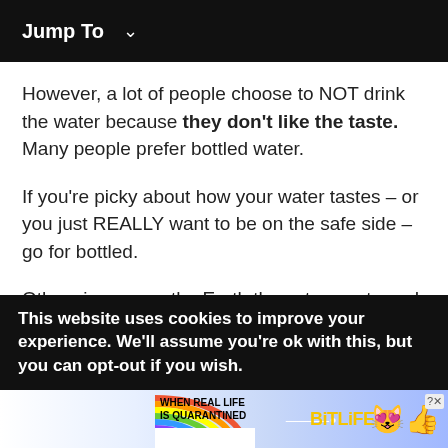Jump To ∨
However, a lot of people choose to NOT drink the water because they don't like the taste. Many people prefer bottled water.
If you're picky about how your water tastes – or you just REALLY want to be on the safe side – go for bottled.
Otherwise, spare the Earth the extra waste and refill a good water bottle from the tap. You'll get our seal of approval if you do.
This website uses cookies to improve your experience. We'll assume you're ok with this, but you can opt-out if you wish.
[Figure (other): BitLife advertisement banner with rainbow background, text 'WHEN REAL LIFE IS QUARANTINED', BitLife logo with emoji characters]